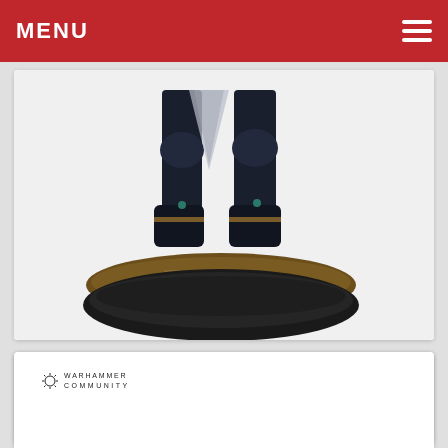MENU
[Figure (photo): Close-up of the lower half of a painted Warhammer miniature figure, showing boots and base on a black oval base]
[Figure (photo): Warhammer Community branded photo of a painted Warhammer miniature: a heavily armored orky/human fighter holding a large golden gun, wearing red and brown armor, standing on a textured base]